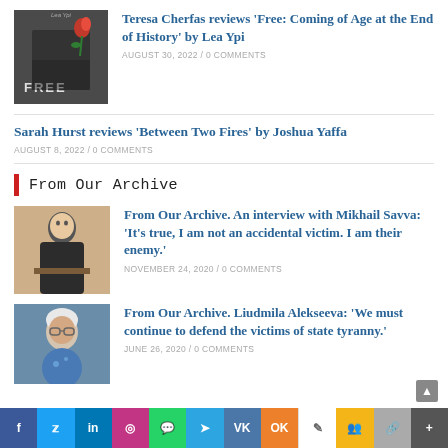[Figure (photo): Book cover for 'Free: Coming of Age at the End of History' by Lea Ypi, with a red rose and 'FREE' text]
Teresa Cherfas reviews ‘Free: Coming of Age at the End of History’ by Lea Ypi
AUGUST 30, 2022 / 0 COMMENTS
Sarah Hurst reviews ‘Between Two Fires’ by Joshua Yaffa
AUGUST 8, 2022 / 0 COMMENTS
From Our Archive
[Figure (photo): Photo of Mikhail Savva, a man in a suit sitting at a desk]
From Our Archive. An interview with Mikhail Savva: ‘It’s true, I am not an accidental victim. I am their enemy.’
NOVEMBER 24, 2020 / 0 COMMENTS
[Figure (photo): Photo of Liudmila Alekseeva, an elderly woman with white hair and glasses]
From Our Archive. Liudmila Alekseeva: ‘We must continue to defend the victims of state tyranny.’
JUNE 26, 2020 / 0 COMMENTS